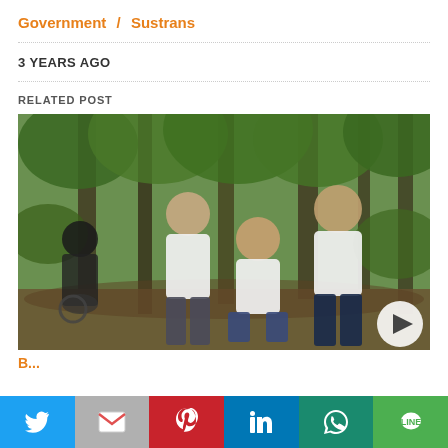Government / Sustrans
3 YEARS AGO
RELATED POST
[Figure (photo): Three men in white t-shirts with a logo posing in a forest setting, with a cyclist on a mountain bike visible in the background on the left.]
B...
Twitter | Gmail | Pinterest | LinkedIn | WhatsApp | LINE